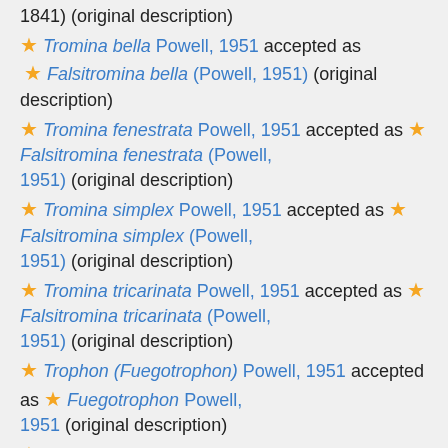1841) (original description)
★ Tromina bella Powell, 1951 accepted as ★ Falsitromina bella (Powell, 1951) (original description)
★ Tromina fenestrata Powell, 1951 accepted as ★ Falsitromina fenestrata (Powell, 1951) (original description)
★ Tromina simplex Powell, 1951 accepted as ★ Falsitromina simplex (Powell, 1951) (original description)
★ Tromina tricarinata Powell, 1951 accepted as ★ Falsitromina tricarinata (Powell, 1951) (original description)
★ Trophon (Fuegotrophon) Powell, 1951 accepted as ★ Fuegotrophon Powell, 1951 (original description)
★ Trophon (Stramonitrophon) Powell, 1951 accepted as ★ Trophon Montfort, 1810 (original description)
★ Trophon cuspidarioides Powell, 1951 accepted as ★ Enixotrophon cuspidarioides (Powell, 1951) (original description)
★ Trophon echinolamellatus Powell, 1951